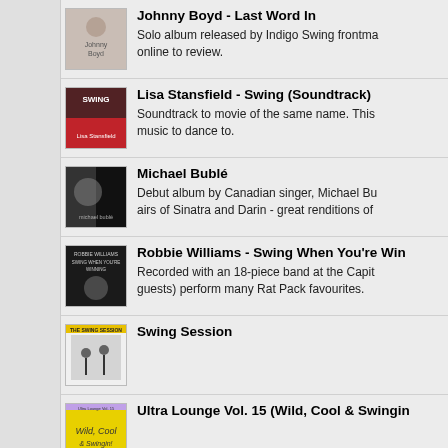Johnny Boyd - Last Word In
Solo album released by Indigo Swing frontman online to review.
Lisa Stansfield - Swing (Soundtrack)
Soundtrack to movie of the same name. This music to dance to.
Michael Bublé
Debut album by Canadian singer, Michael Bublé airs of Sinatra and Darin - great renditions of
Robbie Williams - Swing When You're Win
Recorded with an 18-piece band at the Capitol guests) perform many Rat Pack favourites.
Swing Session
Ultra Lounge Vol. 15 (Wild, Cool & Swingin